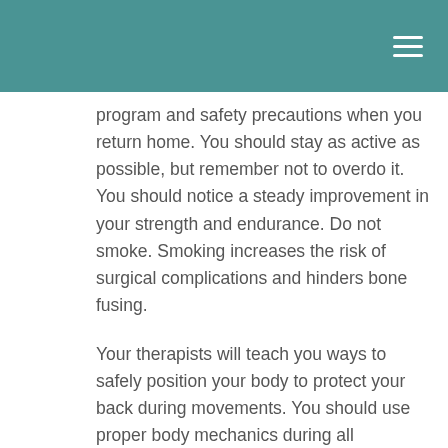program and safety precautions when you return home.  You should stay as active as possible, but remember not to overdo it.  You should notice a steady improvement in your strength and endurance.  Do not smoke.  Smoking increases the risk of surgical complications and hinders bone fusing.
Your therapists will teach you ways to safely position your body to protect your back during movements.  You should use proper body mechanics during all activities.  The use of proper body mechanics is important for preventing future injury.  Additionally, you should continue to use your durable medical equipment, such as shower chairs or toilet risers, as advised.